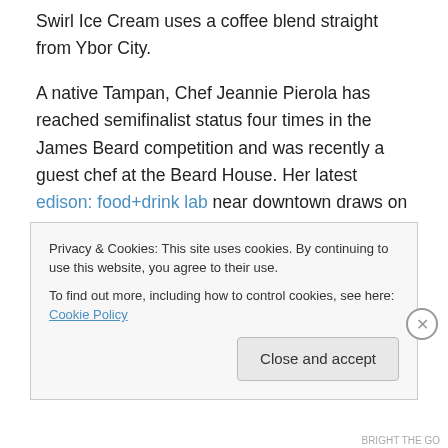Swirl Ice Cream uses a coffee blend straight from Ybor City.
A native Tampan, Chef Jeannie Pierola has reached semifinalist status four times in the James Beard competition and was recently a guest chef at the Beard House. Her latest edison: food+drink lab near downtown draws on influences from here to Cyprus. The paella negra on the dinner menu the day I visited draws on strong Spanish tradition with a few of Chef Jeannie's trademark twists such as squid ink rice, saffron uni foam, and piquillo
Privacy & Cookies: This site uses cookies. By continuing to use this website, you agree to their use. To find out more, including how to control cookies, see here: Cookie Policy